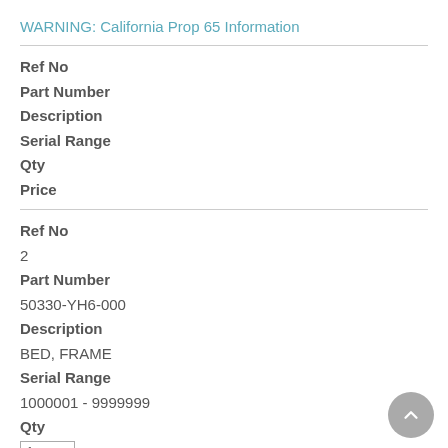WARNING: California Prop 65 Information
Ref No
Part Number
Description
Serial Range
Qty
Price
Ref No
2
Part Number
50330-YH6-000
Description
BED, FRAME
Serial Range
1000001 - 9999999
Qty
1